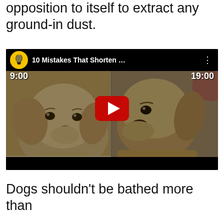opposition to itself to extract any ground-in dust.
[Figure (screenshot): YouTube video thumbnail showing '10 Mistakes That Shorten ...' with a yellow lightbulb channel icon, timestamps 9:00 and 19:00, two side-by-side dog face images (a sad-looking golden/lab mix), red YouTube play button in center, black top and bottom bars.]
Dogs shouldn't be bathed more than